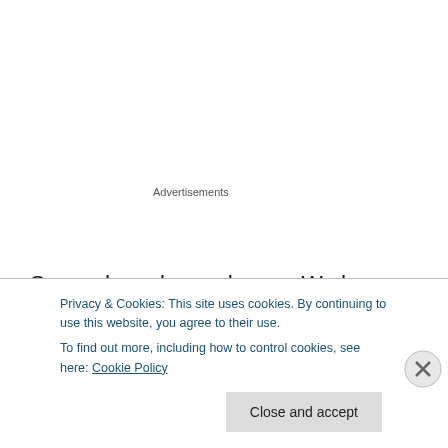Advertisements
So, we have been chosen. We have been bought. We are owned. We are provided for: “My God shall supply all your needs.” We are protected, are we not? We are disciplined. We are rewarded– “Well done, good and faithful slave.” All those concepts within the magnificent realm of what it means to be a disciple are tied to the concept of being a
Privacy & Cookies: This site uses cookies. By continuing to use this website, you agree to their use.
To find out more, including how to control cookies, see here: Cookie Policy
Close and accept